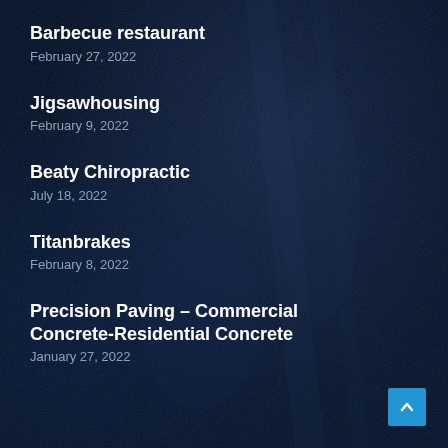Barbecue restaurant
February 27, 2022
Jigsawhousing
February 9, 2022
Beaty Chiropractic
July 18, 2022
Titanbrakes
February 8, 2022
Precision Paving – Commercial Concrete-Residential Concrete
January 27, 2022